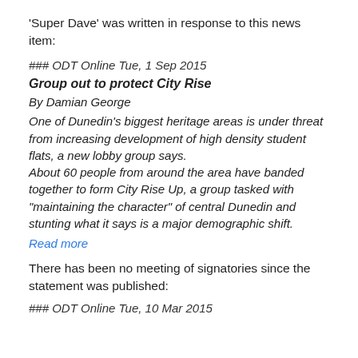'Super Dave' was written in response to this news item:
### ODT Online Tue, 1 Sep 2015
Group out to protect City Rise
By Damian George
One of Dunedin’s biggest heritage areas is under threat from increasing development of high density student flats, a new lobby group says. About 60 people from around the area have banded together to form City Rise Up, a group tasked with “maintaining the character” of central Dunedin and stunting what it says is a major demographic shift.
Read more
There has been no meeting of signatories since the statement was published:
### ODT Online Tue, 10 Mar 2015